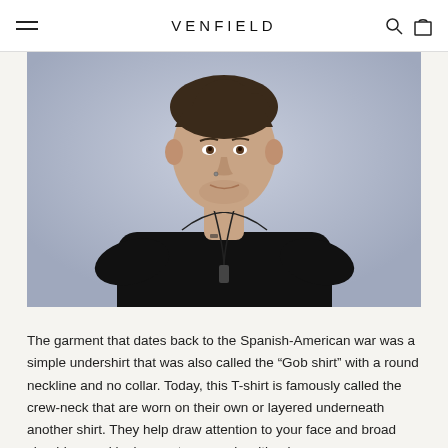VENFIELD
[Figure (photo): A young man with dark wavy hair and light stubble wearing a black crew-neck t-shirt with a pendant necklace, photographed against a light blue-grey background.]
The garment that dates back to the Spanish-American war was a simple undershirt that was also called the “Gob shirt” with a round neckline and no collar. Today, this T-shirt is famously called the crew-neck that are worn on their own or layered underneath another shirt. They help draw attention to your face and broad shoulders and looks great on people with a long